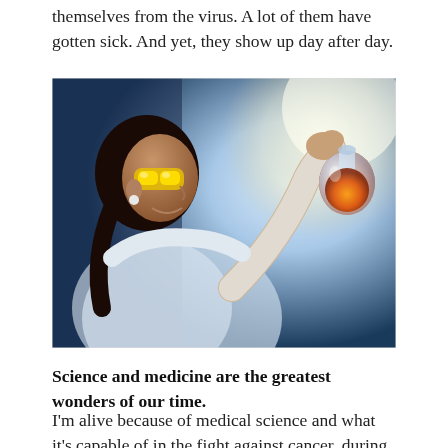themselves from the virus. A lot of them have gotten sick. And yet, they show up day after day.
[Figure (photo): A female scientist wearing yellow safety goggles and white lab coat holds up an Erlenmeyer flask containing an orange liquid, examining it against a bright light background.]
Science and medicine are the greatest wonders of our time.
I’m alive because of medical science and what it’s capable of in the fight against cancer, during the search for a COVID-19 vaccine my sense of wonder